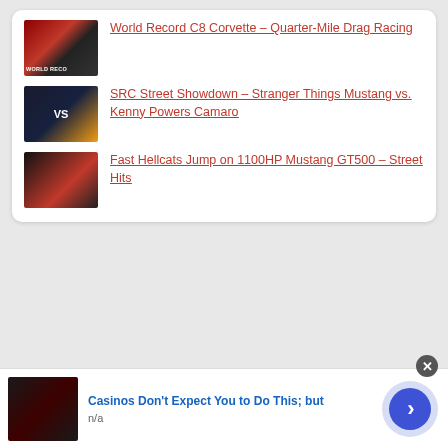World Record C8 Corvette – Quarter-Mile Drag Racing
SRC Street Showdown – Stranger Things Mustang vs. Kenny Powers Camaro
Fast Hellcats Jump on 1100HP Mustang GT500 – Street Hits
[Figure (screenshot): Advertisement banner: Casinos Don't Expect You to Do This; but — n/a]
Casinos Don't Expect You to Do This; but
n/a